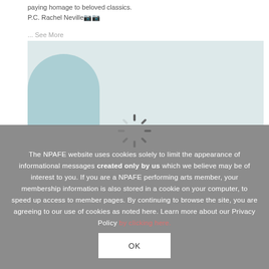paying homage to beloved classics.
P.C. Rachel Neville
... See More
[Figure (photo): Partial view of a dance or artistic photograph with a light teal/blue abstract shape against a white-grey background, partially loaded or cropped.]
The NPAFE website uses cookies solely to limit the appearance of informational messages created only by us which we believe may be of interest to you. If you are a NPAFE performing arts member, your membership information is also stored in a cookie on your computer, to speed up access to member pages. By continuing to browse the site, you are agreeing to our use of cookies as noted here. Learn more about our Privacy Policy by clicking here.
OK